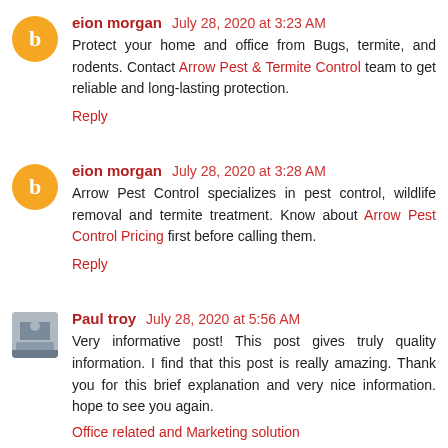eion morgan  July 28, 2020 at 3:23 AM
Protect your home and office from Bugs, termite, and rodents. Contact Arrow Pest & Termite Control team to get reliable and long-lasting protection.
Reply
eion morgan  July 28, 2020 at 3:28 AM
Arrow Pest Control specializes in pest control, wildlife removal and termite treatment. Know about Arrow Pest Control Pricing first before calling them.
Reply
Paul troy  July 28, 2020 at 5:56 AM
Very informative post! This post gives truly quality information. I find that this post is really amazing. Thank you for this brief explanation and very nice information. hope to see you again.
Office related and Marketing solution